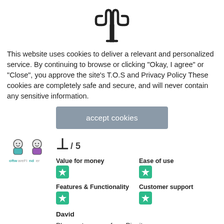[Figure (illustration): Cactus icon outline drawing, centered at top of page]
This website uses cookies to deliver a relevant and personalized service. By continuing to browse or clicking "Okay, I agree" or "Close", you approve the site's T.O.S and Privacy Policy These cookies are completely safe and secure, and will never contain any sensitive information.
[Figure (other): Button labeled 'accept cookies' with gray background]
[Figure (logo): SoftwareFinder logo with two cartoon characters]
1 / 5
Value for money
[Figure (other): Green star badge for Value for money]
Ease of use
[Figure (other): Green star badge for Ease of use]
Features & Functionality
[Figure (other): Green star badge for Features & Functionality]
Customer support
[Figure (other): Green star badge for Customer support]
David
Please stay away from Pippity.
The functionality is very fragile. You configure it once